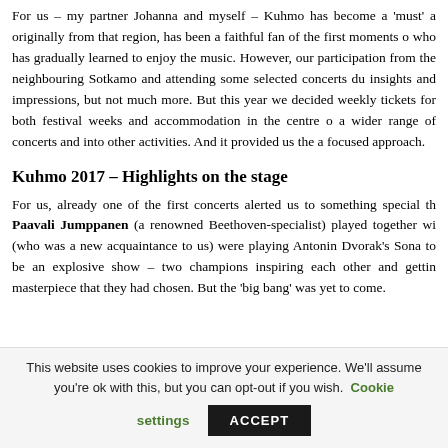For us – my partner Johanna and myself – Kuhmo has become a 'must' a originally from that region, has been a faithful fan of the first moments o who has gradually learned to enjoy the music. However, our participation from the neighbouring Sotkamo and attending some selected concerts du insights and impressions, but not much more. But this year we decided weekly tickets for both festival weeks and accommodation in the centre o a wider range of concerts and into other activities. And it provided us the a focused approach.
Kuhmo 2017 – Highlights on the stage
For us, already one of the first concerts alerted us to something special th Paavali Jumppanen (a renowned Beethoven-specialist) played together wi (who was a new acquaintance to us) were playing Antonin Dvorak's Sona to be an explosive show – two champions inspiring each other and gettin masterpiece that they had chosen. But the 'big bang' was yet to come.
This website uses cookies to improve your experience. We'll assume you're ok with this, but you can opt-out if you wish. Cookie settings ACCEPT